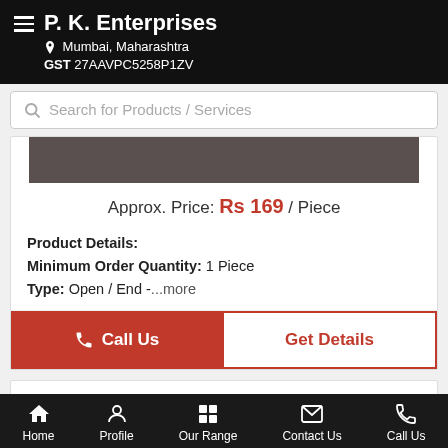P. K. Enterprises — Mumbai, Maharashtra — GST 27AAVPC5258P1ZV
Search for Products / Services
[Figure (screenshot): Grey image placeholder strip for product photo]
Approx. Price: Rs 169 / Piece
Product Details:
Minimum Order Quantity: 1 Piece
Type: Open / End -...more
Call Us
Get Details
PTBD Catheter
Home | Profile | Our Range | Contact Us | Call Us